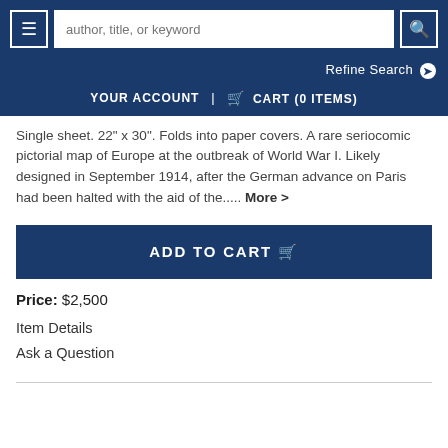author, title, or keyword | YOUR ACCOUNT | CART (0 ITEMS) | Refine Search
Single sheet. 22" x 30". Folds into paper covers. A rare seriocomic pictorial map of Europe at the outbreak of World War I. Likely designed in September 1914, after the German advance on Paris had been halted with the aid of the..... More >
ADD TO CART
Price: $2,500
Item Details
Ask a Question